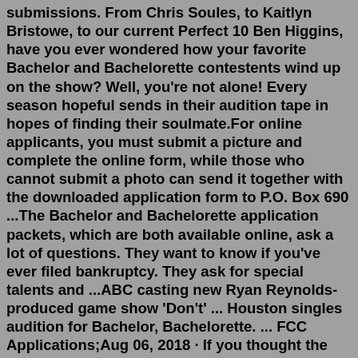submissions. From Chris Soules, to Kaitlyn Bristowe, to our current Perfect 10 Ben Higgins, have you ever wondered how your favorite Bachelor and Bachelorette contestents wind up on the show? Well, you're not alone! Every season hopeful sends in their audition tape in hopes of finding their soulmate.For online applicants, you must submit a picture and complete the online form, while those who cannot submit a photo can send it together with the downloaded application form to P.O. Box 690 ...The Bachelor and Bachelorette application packets, which are both available online, ask a lot of questions. They want to know if you've ever filed bankruptcy. They ask for special talents and ...ABC casting new Ryan Reynolds-produced game show 'Don't' ... Houston singles audition for Bachelor, Bachelorette. ... FCC Applications;Aug 06, 2018 · If you thought the paper application was, um, extra, check out the filming instructions for a Bachelor audition tape.Let's just say there are a lot of exclamation points. The